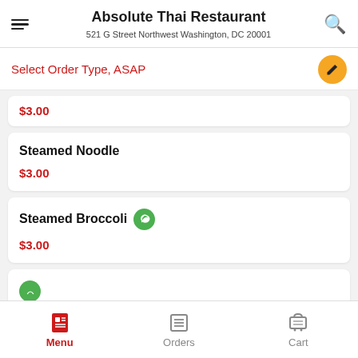Absolute Thai Restaurant
521 G Street Northwest Washington, DC 20001
Select Order Type, ASAP
$3.00
Steamed Noodle
$3.00
Steamed Broccoli
$3.00
Menu  Orders  Cart